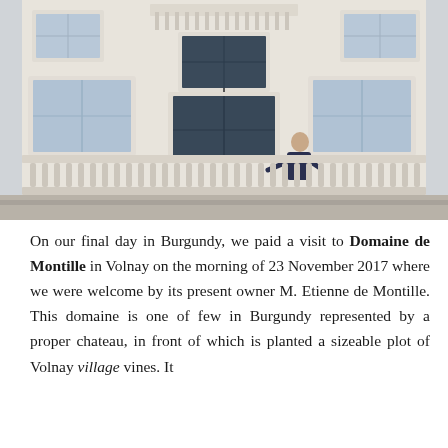[Figure (photo): Exterior photograph of a grand French chateau building (Domaine de Montille) with white/cream stone facade, ornate balcony with balustrade, tall arched windows, and a hanging lantern. A man (Etienne de Montille) is visible leaning on the balcony railing.]
On our final day in Burgundy, we paid a visit to Domaine de Montille in Volnay on the morning of 23 November 2017 where we were welcome by its present owner M. Etienne de Montille. This domaine is one of few in Burgundy represented by a proper chateau, in front of which is planted a sizeable plot of Volnay village vines. It